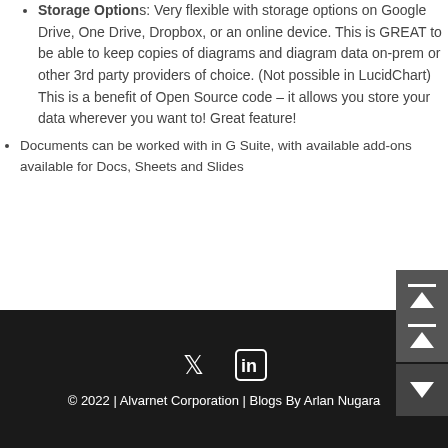Storage Options: Very flexible with storage options on Google Drive, One Drive, Dropbox, or an online device. This is GREAT to be able to keep copies of diagrams and diagram data on-prem or other 3rd party providers of choice. (Not possible in LucidChart) This is a benefit of Open Source code – it allows you store your data wherever you want to! Great feature!
Documents can be worked with in G Suite, with available add-ons available for Docs, Sheets and Slides
© 2022 | Alvarnet Corporation | Blogs By Arlan Nugara